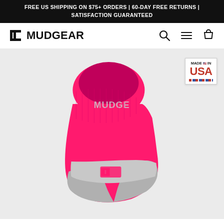FREE US SHIPPING ON $75+ ORDERS | 60-DAY FREE RETURNS | SATISFACTION GUARANTEED
[Figure (logo): MudGear brand logo with stylized bracket icon and bold text MUDGEAR]
[Figure (photo): Pink and gray MudGear athletic ankle sock with MUDGEAR text on upper portion and brand logo on foot, shown on light gray background. Made in USA badge in upper right corner.]